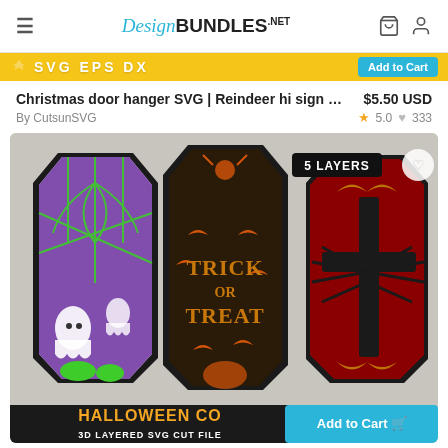DesignBUNDLES.NET
[Figure (screenshot): Yellow banner strip partially visible showing 'SVG EPS DX' text and a blue 'Add to Cart' button]
Christmas door hanger SVG | Reindeer hi sign …	$5.50 USD
By CutsunSVG	★ 5.0 ♥ 333
[Figure (photo): Product image showing three Halloween coffin SVG designs: left has green spider web with ghosts and pumpkins on purple/black background, center says 'Trick or Treat' with orange bats and pumpkin, right has red background with cross/spider design. Label '5 LAYERS' shown in top right. Bottom shows 'HALLOWEEN CO...' and '3D LAYERED SVG CUT FILE' text. A blue 'Add to Cart' button is in the bottom right.]